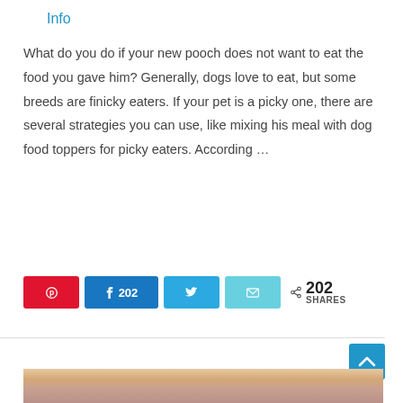Info
What do you do if your new pooch does not want to eat the food you gave him? Generally, dogs love to eat, but some breeds are finicky eaters. If your pet is a picky one, there are several strategies you can use, like mixing his meal with dog food toppers for picky eaters. According …
Read More »
[Figure (infographic): Social share buttons: Pinterest (red), Facebook (blue, 202 shares), Twitter (blue), Email (light blue), and share count showing 202 SHARES]
[Figure (photo): Partial photo of a woman visible at bottom of page]